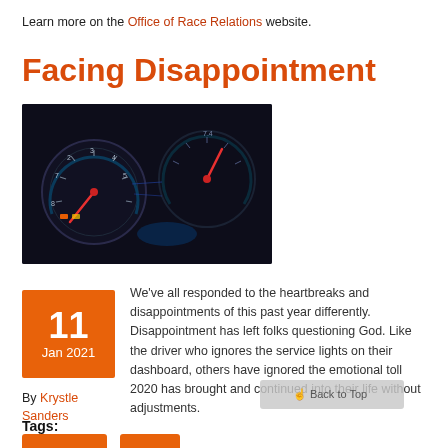Learn more on the Office of Race Relations website.
Facing Disappointment
[Figure (photo): Close-up photo of a car dashboard showing illuminated gauges and warning lights against a dark background]
We've all responded to the heartbreaks and disappointments of this past year differently. Disappointment has left folks questioning God. Like the driver who ignores the service lights on their dashboard, others have ignored the emotional toll 2020 has brought and continued into their life without adjustments.
By Krystle Sanders
Tags: